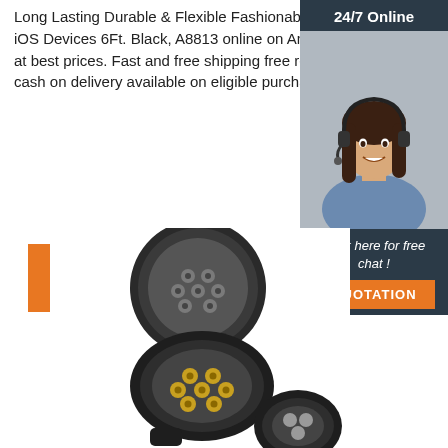Long Lasting Durable & Flexible Fashionable For All iOS Devices 6Ft. Black, A8813 online on Amazon.ae at best prices. Fast and free shipping free returns cash on delivery available on eligible purchase.
Get Price
[Figure (infographic): 24/7 Online customer service sidebar with a woman wearing a headset, dark background, with 'Click here for free chat!' text and an orange QUOTATION button]
[Figure (photo): Black trailer/tow hitch electrical connector plug shown open, with multiple gold pins visible, and a second connector in the lower right]